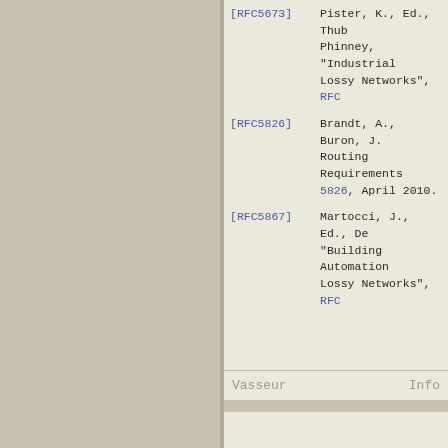[RFC5673]  Pister, K., Ed., Thub... Phinney, "Industrial Lossy Networks", RFC ...
[RFC5826]  Brandt, A., Buron, J., Routing Requirements 5826, April 2010.
[RFC5867]  Martocci, J., Ed., De... "Building Automation Lossy Networks", RFC ...
Vasseur                                                         Info
RFC 7102                                                    LLN Ro
Author's Address